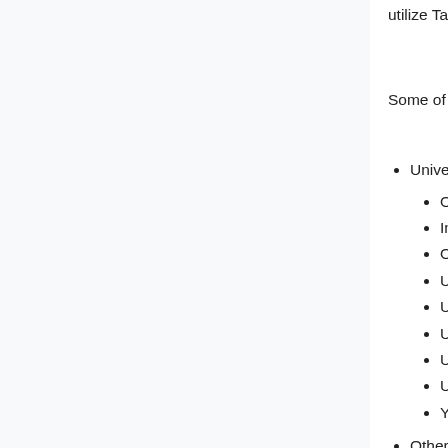utilize TapRide for on-demand ride-hailing services.[2]
Some of TapRide's current clients include:
Universities:
Ohio State University
Indiana University
Oregon State University
University of Arizona
UCLA
University of Colorado, Boulder
University of Florida
University of Michigan
Yale University
Others:
City of Fargo (ND)
Dallas Area Rapid Transit (DART)
Kitsap transit (WA)
Lynx Neighborlink (FL)